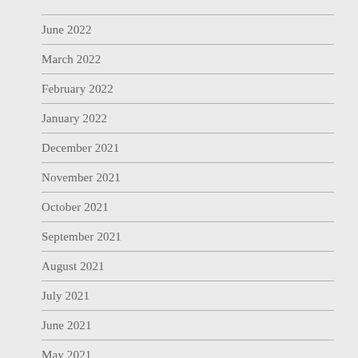June 2022
March 2022
February 2022
January 2022
December 2021
November 2021
October 2021
September 2021
August 2021
July 2021
June 2021
May 2021